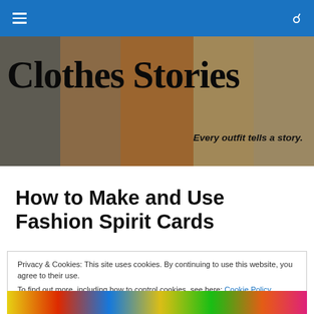Clothes Stories — navigation bar with hamburger menu and search icon
[Figure (photo): Banner image showing people wearing colorful clothing, with the Clothes Stories blog title and tagline overlaid]
Clothes Stories
Every outfit tells a story.
How to Make and Use Fashion Spirit Cards
Privacy & Cookies: This site uses cookies. By continuing to use this website, you agree to their use.
To find out more, including how to control cookies, see here: Cookie Policy
[Figure (photo): Colorful bottom image strip showing vibrant stained-glass or mosaic style artwork]